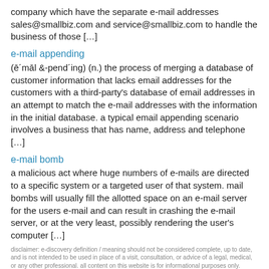company which have the separate e-mail addresses sales@smallbiz.com and service@smallbiz.com to handle the business of those […]
e-mail appending
(ē´māl &-pend´ing) (n.) the process of merging a database of customer information that lacks email addresses for the customers with a third-party's database of email addresses in an attempt to match the e-mail addresses with the information in the initial database. a typical email appending scenario involves a business that has name, address and telephone […]
e-mail bomb
a malicious act where huge numbers of e-mails are directed to a specific system or a targeted user of that system. mail bombs will usually fill the allotted space on an e-mail server for the users e-mail and can result in crashing the e-mail server, or at the very least, possibly rendering the user's computer […]
disclaimer: e-discovery definition / meaning should not be considered complete, up to date, and is not intended to be used in place of a visit, consultation, or advice of a legal, medical, or any other professional. all content on this website is for informational purposes only.